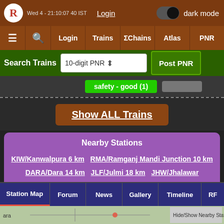Login | dark mode (toggle)
≡ 🔍 Login | Trains | ΣChains | Atlas | PNR
Search Trains | 10-digit PNR | Post PNR
safety - good (1)
Show ALL Trains
Nearby Stations
KIW/Kanwalpura 6 km   RMA/Ramganj Mandi Junction 10 km
DARA/Dara 14 km   JLF/Julmi 18 km   JHW/Jhalawar Road 22 km   RDT/Ravtha Road 27 km   DKRA/Dhuankheri 28 km
DKQ/Dhani Kasar 34 km   JLWC/Jhalawar City 36 km
BWM/Bhawani Mandi 38 km
Station Map | Forum | News | Gallery | Timeline | RF